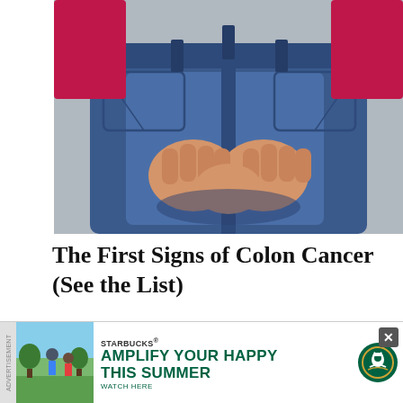[Figure (photo): Close-up photo of a person in a red top and blue jeans, hands clasped behind their lower back/buttocks area, suggestive of discomfort in the abdominal/colon region.]
The First Signs of Colon Cancer (See the List)
Colon | Search Ads
[Figure (screenshot): Advertisement banner for Starbucks: 'AMPLIFY YOUR HAPPY THIS SUMMER — WATCH HERE' with Starbucks logo. Includes a small image of people outdoors and a vertical 'ADVERTISEMENT' label on the left side. An X close button appears in the top right corner of the ad.]